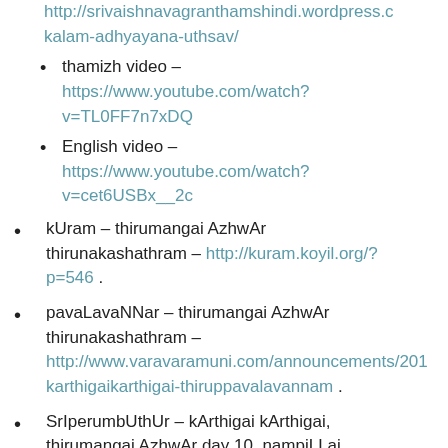http://srivaishnavagranthamshindi.wordpress.c…kalam-adhyayana-uthsav/
thamizh video – https://www.youtube.com/watch?v=TL0FF7n7xDQ
English video – https://www.youtube.com/watch?v=cet6USBx__2c
kUram – thirumangai AzhwAr thirunakashathram – http://kuram.koyil.org/?p=546 .
pavaLavaNNar – thirumangai AzhwAr thirunakashathram – http://www.varavaramuni.com/announcements/201…karthigaikarthigai-thiruppavalavannam .
SrIperumbUthUr – kArthigai kArthigai, thirumangai AzhwAr day 10, nampiLLai (…)